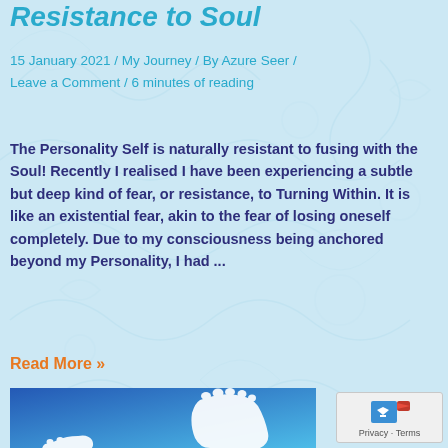Resistance to Soul
15 January 2021 / My Journey / By Azure Seer / Leave a Comment / 6 minutes of reading
The Personality Self is naturally resistant to fusing with the Soul! Recently I realised I have been experiencing a subtle but deep kind of fear, or resistance, to Turning Within. It is like an existential fear, akin to the fear of losing oneself completely. Due to my consciousness being anchored beyond my Personality, I had ...
Read More »
[Figure (illustration): Image with gradient blue background showing white foot/feet silhouettes, representing stepping or walking, related to soul journey blog post.]
Privacy - Terms